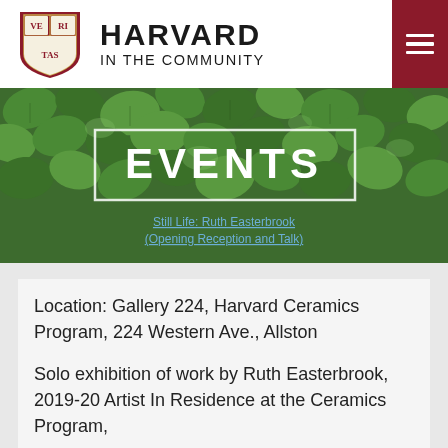[Figure (logo): Harvard University shield/crest logo in crimson red with VERITAS lettering]
HARVARD IN THE COMMUNITY
[Figure (photo): Ivy leaves background banner with 'EVENTS' text overlay in white with border, and a link text partially visible at bottom reading 'Still Life: Ruth Easterbrook (Opening Reception and Talk)']
Location: Gallery 224, Harvard Ceramics Program, 224 Western Ave., Allston
Solo exhibition of work by Ruth Easterbrook, 2019-20 Artist In Residence at the Ceramics Program,